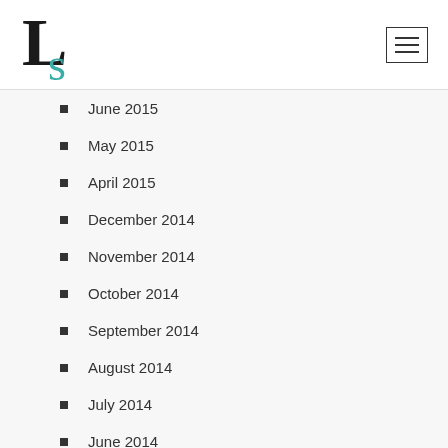[Figure (logo): LS logo with large serif L in black and stylized S in teal]
June 2015
May 2015
April 2015
December 2014
November 2014
October 2014
September 2014
August 2014
July 2014
June 2014